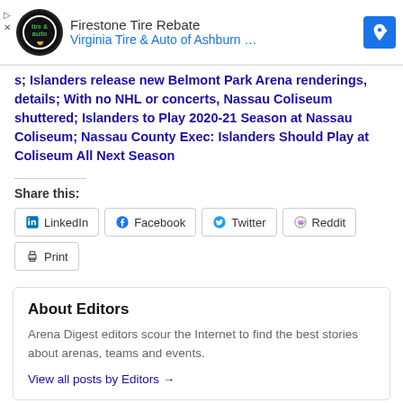[Figure (other): Advertisement banner: Firestone Tire Rebate - Virginia Tire & Auto of Ashburn with logo and navigation icon]
s; Islanders release new Belmont Park Arena renderings, details; With no NHL or concerts, Nassau Coliseum shuttered; Islanders to Play 2020-21 Season at Nassau Coliseum; Nassau County Exec: Islanders Should Play at Coliseum All Next Season
Share this:
LinkedIn  Facebook  Twitter  Reddit  Print
About Editors
Arena Digest editors scour the Internet to find the best stories about arenas, teams and events.
View all posts by Editors →